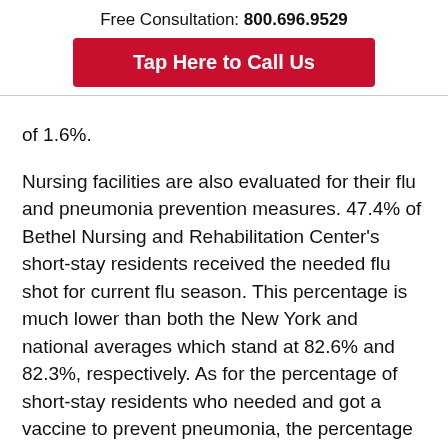Free Consultation: 800.696.9529
Tap Here to Call Us
of 1.6%.
Nursing facilities are also evaluated for their flu and pneumonia prevention measures. 47.4% of Bethel Nursing and Rehabilitation Center's short-stay residents received the needed flu shot for current flu season. This percentage is much lower than both the New York and national averages which stand at 82.6% and 82.3%, respectively. As for the percentage of short-stay residents who needed and got a vaccine to prevent pneumonia, the percentage for Bethel Nursing and